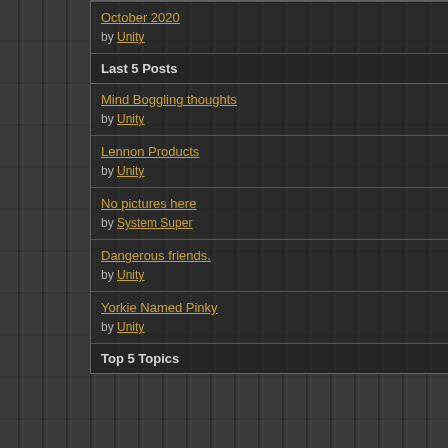October 2020 by Unity
Last 5 Posts
Mind Boggling thoughts by Unity
Lennon Products by Unity
No pictures here by System Super
Dangerous friends. by Unity
Yorkie Named Pinky by Unity
Top 5 Topics